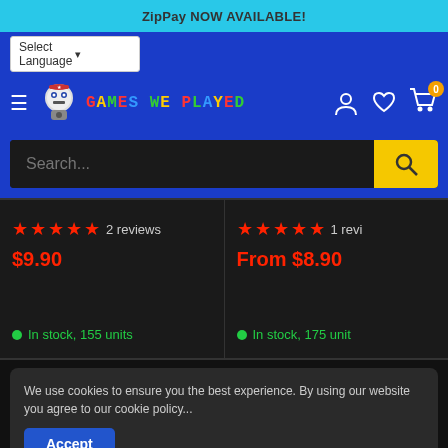ZipPay NOW AVAILABLE!
Select Language
[Figure (logo): Games We Played logo with cartoon gaming character and colorful pixel-style text]
Search...
★★★★★ 2 reviews
$9.90
In stock, 155 units
★★★★★ 1 revi...
From $8.90
In stock, 175 units
We use cookies to ensure you the best experience. By using our website you agree to our cookie policy...
Accept
Shipping Internationally